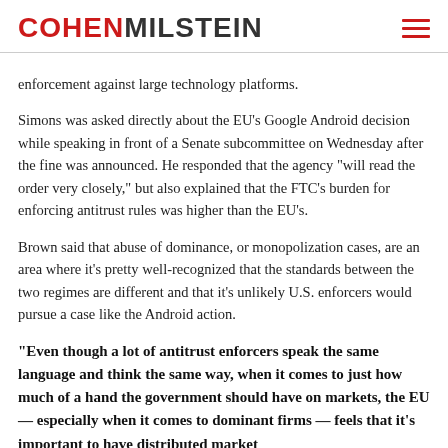COHEN MILSTEIN
enforcement against large technology platforms.
Simons was asked directly about the EU’s Google Android decision while speaking in front of a Senate subcommittee on Wednesday after the fine was announced. He responded that the agency “will read the order very closely,” but also explained that the FTC’s burden for enforcing antitrust rules was higher than the EU’s.
Brown said that abuse of dominance, or monopolization cases, are an area where it’s pretty well-recognized that the standards between the two regimes are different and that it’s unlikely U.S. enforcers would pursue a case like the Android action.
“Even though a lot of antitrust enforcers speak the same language and think the same way, when it comes to just how much of a hand the government should have on markets, the EU — especially when it comes to dominant firms — feels that it’s important to have distributed market